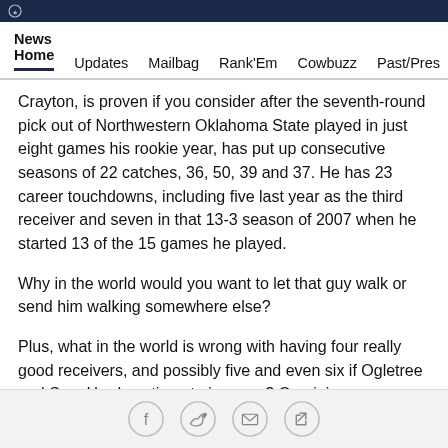News Home   Updates   Mailbag   Rank'Em   Cowbuzz   Past/Pres
Crayton, is proven if you consider after the seventh-round pick out of Northwestern Oklahoma State played in just eight games his rookie year, has put up consecutive seasons of 22 catches, 36, 50, 39 and 37. He has 23 career touchdowns, including five last year as the third receiver and seven in that 13-3 season of 2007 when he started 13 of the 15 games he played.
Why in the world would you want to let that guy walk or send him walking somewhere else?
Plus, what in the world is wrong with having four really good receivers, and possibly five and even six if Ogletree and Sam Hurd continue to improve? One injury
[Figure (other): Social sharing icons: Facebook, Twitter, Email, Link]